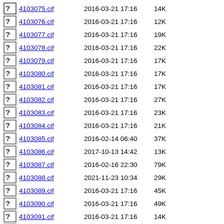4103075.cif  2016-03-21 17:16  14K
4103076.cif  2016-03-21 17:16  12K
4103077.cif  2016-03-21 17:16  19K
4103078.cif  2016-03-21 17:16  22K
4103079.cif  2016-03-21 17:16  17K
4103080.cif  2016-03-21 17:16  17K
4103081.cif  2016-03-21 17:16  17K
4103082.cif  2016-03-21 17:16  27K
4103083.cif  2016-03-21 17:16  23K
4103084.cif  2016-03-21 17:16  21K
4103085.cif  2016-02-14 06:40  37K
4103086.cif  2017-10-13 14:42  13K
4103087.cif  2016-02-16 22:30  79K
4103088.cif  2021-11-23 10:34  29K
4103089.cif  2016-03-21 17:16  45K
4103090.cif  2016-03-21 17:16  49K
4103091.cif  2016-03-21 17:16  14K
4103092.cif  2016-03-21 17:16  16K